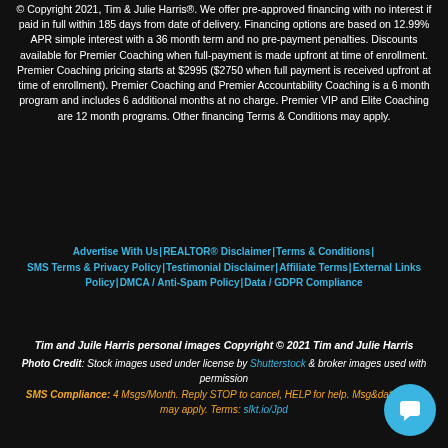© Copyright 2021, Tim & Julie Harris®. We offer pre-approved financing with no interest if paid in full within 185 days from date of delivery. Financing options are based on 12.99% APR simple interest with a 36 month term and no pre-payment penalties. Discounts available for Premier Coaching when full-payment is made upfront at time of enrollment. Premier Coaching pricing starts at $2995 ($2750 when full payment is received upfront at time of enrollment). Premier Coaching and Premier Accountability Coaching is a 6 month program and includes 6 additional months at no charge. Premier VIP and Elite Coaching are 12 month programs. Other financing Terms & Conditions may apply.
Advertise With Us | REALTOR® Disclaimer | Terms & Conditions | SMS Terms & Privacy Policy | Testimonial Disclaimer | Affiliate Terms | External Links Policy | DMCA/Anti-Spam Policy | Data/GDPR Compliance
Tim and Juile Harris personal images Copyright © 2021 Tim and Julie Harris
Photo Credit: Stock images used under license by Shutterstock & broker images used with permission
SMS Compliance: 4 Msgs/Month. Reply STOP to cancel, HELP for help. Msg&data rates may apply. Terms: slkt.io/Jpd